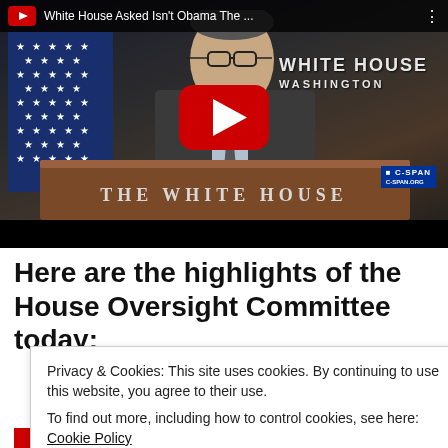[Figure (screenshot): YouTube video thumbnail showing a White House press briefing. A man in a suit stands at a podium with 'THE WHITE HOUSE' text, an American flag visible, C-SPAN watermark, and a YouTube play button overlay. Video title reads 'White House Asked Isn't Obama The...']
Here are the highlights of the House Oversight Committee today:
Privacy & Cookies: This site uses cookies. By continuing to use this website, you agree to their use.
To find out more, including how to control cookies, see here: Cookie Policy